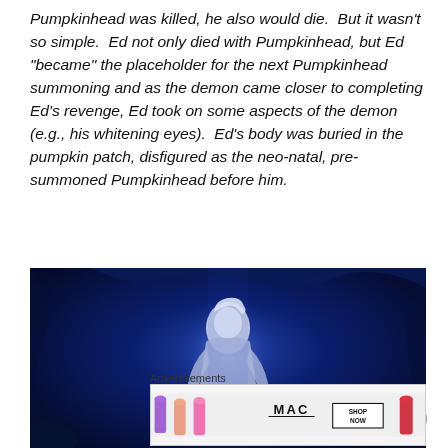Pumpkinhead was killed, he also would die. But it wasn't so simple. Ed not only died with Pumpkinhead, but Ed "became" the placeholder for the next Pumpkinhead summoning and as the demon came closer to completing Ed's revenge, Ed took on some aspects of the demon (e.g., his whitening eyes). Ed's body was buried in the pumpkin patch, disfigured as the neo-natal, pre-summoned Pumpkinhead before him.
[Figure (photo): Dark blue-tinted movie still from Pumpkinhead showing a pale-skinned figure holding a body in a dark cavern setting]
Advertisements
[Figure (photo): MAC cosmetics advertisement showing lipsticks in purple, peach, pink and red colors with MAC logo and SHOP NOW button]